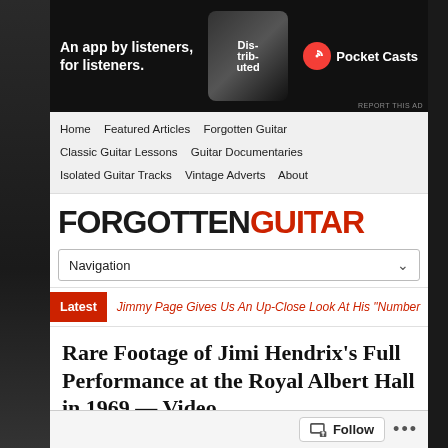[Figure (screenshot): Pocket Casts advertisement banner - 'An app by listeners, for listeners.' with phone image and Pocket Casts logo on dark background]
Home  Featured Articles  Forgotten Guitar  Classic Guitar Lessons  Guitar Documentaries  Isolated Guitar Tracks  Vintage Adverts  About
FORGOTTENGUITАР
Navigation
Latest  Jimmy Page Gives Us An Up-Close Look At His "Number
Rare Footage of Jimi Hendrix's Full Performance at the Royal Albert Hall in 1969 — Video